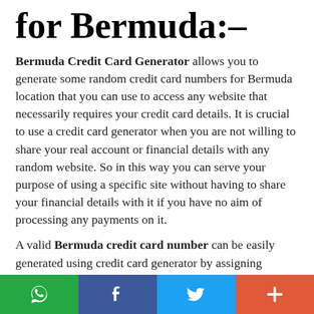for Bermuda:–
Bermuda Credit Card Generator allows you to generate some random credit card numbers for Bermuda location that you can use to access any website that necessarily requires your credit card details. It is crucial to use a credit card generator when you are not willing to share your real account or financial details with any random website. So in this way you can serve your purpose of using a specific site without having to share your financial details with it if you have no aim of processing any payments on it.
A valid Bermuda credit card number can be easily generated using credit card generator by assigning different number prefixes for all credit card companies. For Example number 4 for Visa credit cards, 5 for MasterCard, 6 for Discover Card, 34 and 37 for American Express and 35 for JCB Cards.
You can quickly generate 100% valid Bermuda credit card numbers that can be used for testing data and any other verification purposes. Card generator generates random
[Figure (infographic): Social share bar with four buttons: WhatsApp (green), Facebook (dark blue), Twitter (light blue), More/plus (red-orange)]